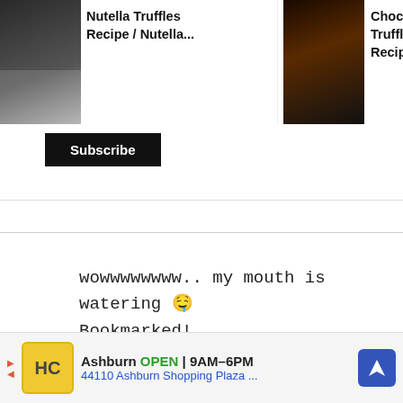[Figure (screenshot): Top navigation bar with three recipe article thumbnails: 'Nutella Truffles Recipe / Nutella...', 'Chocolate Mousse Truffle Cake Recipe', 'Carrot & Raisin Pakoras /...' with food images, and a Subscribe button]
wowwwwwwww.. my mouth is watering 😍 Bookmarked!
[Figure (screenshot): REPLY button with upvote arrow circle showing count 34, heart/like circle button, orange search circle button, and X close button]
The Pumpkin Farm
[Figure (screenshot): Advertisement bar: HC logo, Ashburn OPEN 9AM-6PM, 44110 Ashburn Shopping Plaza..., with navigation arrow icon]